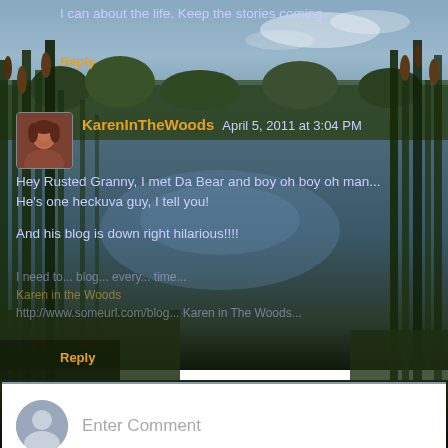[Figure (photo): Background nature photo showing a pond/lake with reeds and cattails, trees in background, reflected sky on water surface]
I can about the life. Keep the stories coming.
Reply
KarenInTheWoods April 5, 2011 at 3:04 PM
Hey Rusted Granny, I met Da Bear and boy oh man... He's one heckuva guy, I tell you!
And his blog is down right hilarious!!!!
Reply
Enter Comment